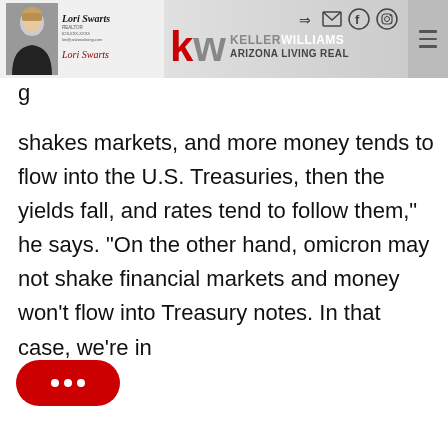Lori Swarts REALTOR — Keller Williams Arizona Living Realty
shakes markets, and more money tends to flow into the U.S. Treasuries, then the yields fall, and rates tend to follow them,” he says. “On the other hand, omicron may not shake financial markets and money won’t flow into Treasury notes. In that case, we’re in
[Figure (other): Red chat bubble button with three dots (messenger/chat widget) in bottom left corner]